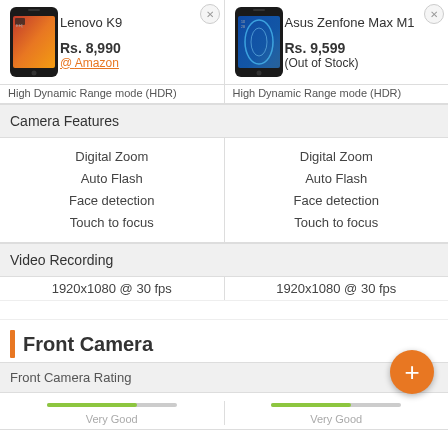[Figure (screenshot): Lenovo K9 smartphone product image]
Lenovo K9
Rs. 8,990
@ Amazon
[Figure (screenshot): Asus Zenfone Max M1 smartphone product image]
Asus Zenfone Max M1
Rs. 9,599
(Out of Stock)
High Dynamic Range mode (HDR)	High Dynamic Range mode (HDR)
Camera Features
Digital Zoom
Auto Flash
Face detection
Touch to focus
Digital Zoom
Auto Flash
Face detection
Touch to focus
Video Recording
1920x1080 @ 30 fps
1920x1080 @ 30 fps
Front Camera
Front Camera Rating
Very Good
Very Good